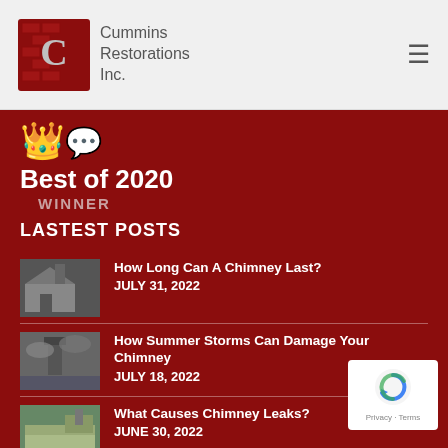Cummins Restorations Inc.
[Figure (logo): Cummins Restorations Inc. logo with brick C icon and company name]
[Figure (illustration): Crown and speech bubble emoji icons representing Best of 2020 award]
Best of 2020
WINNER
LASTEST POSTS
How Long Can A Chimney Last? JULY 31, 2022
How Summer Storms Can Damage Your Chimney JULY 18, 2022
What Causes Chimney Leaks? JUNE 30, 2022
[Figure (other): reCAPTCHA privacy badge]